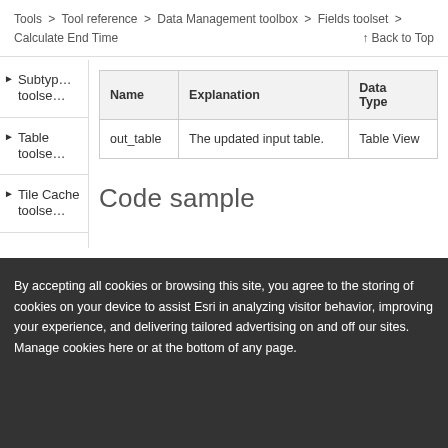Tools > Tool reference > Data Management toolbox > Fields toolset > Calculate End Time   Back to Top
Subtype toolset
Table toolset
Tile Cache toolset
| Name | Explanation | Data Type |
| --- | --- | --- |
| out_table | The updated input table. | Table View |
Code sample
By accepting all cookies or browsing this site, you agree to the storing of cookies on your device to assist Esri in analyzing visitor behavior, improving your experience, and delivering tailored advertising on and off our sites. Manage cookies here or at the bottom of any page.